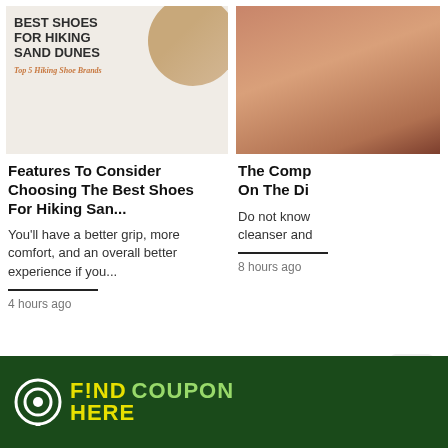[Figure (illustration): Thumbnail image for a blog post about best shoes for hiking sand dunes. Shows text 'BEST SHOES FOR HIKING SAND DUNES' and 'Top 5 Hiking Shoe Brands' on a beige background with a circular sand dune photo.]
Features To Consider Choosing The Best Shoes For Hiking San...
You'll have a better grip, more comfort, and an overall better experience if you...
4 hours ago
[Figure (photo): Thumbnail photo of a woman with a face mask/cleanser on her face, smiling with eyes closed.]
The Comp On The Di
Do not know cleanser and
8 hours ago
[Figure (other): Pagination dots — 8 dots, first one filled/dark, rest grey]
[Figure (other): Scroll-to-top button with upward arrow icon]
FIND COUPON HERE